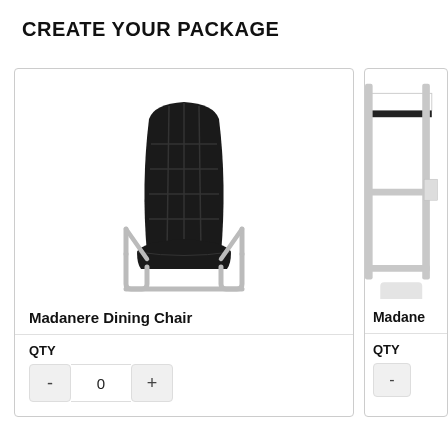CREATE YOUR PACKAGE
[Figure (photo): Black upholstered dining chair with grid stitching pattern and chrome cantilever base, shown on white background]
Madanere Dining Chair
QTY
[Figure (photo): Partial view of a chrome-framed bar stool or table, cropped, shown on white background. Small color swatch below.]
Madane
QTY